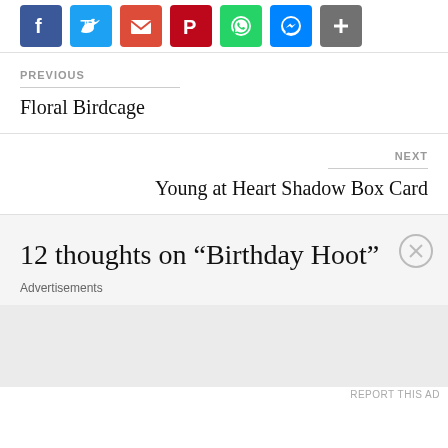[Figure (other): Row of social sharing icon buttons: Facebook, Twitter, Email, Pinterest, WhatsApp, Messenger, Share]
PREVIOUS
Floral Birdcage
NEXT
Young at Heart Shadow Box Card
12 thoughts on “Birthday Hoot”
Advertisements
REPORT THIS AD